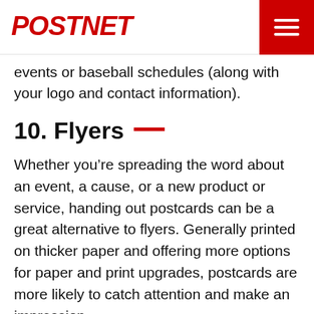PostNet
events or baseball schedules (along with your logo and contact information).
10. Flyers —
Whether you’re spreading the word about an event, a cause, or a new product or service, handing out postcards can be a great alternative to flyers. Generally printed on thicker paper and offering more options for paper and print upgrades, postcards are more likely to catch attention and make an impression.